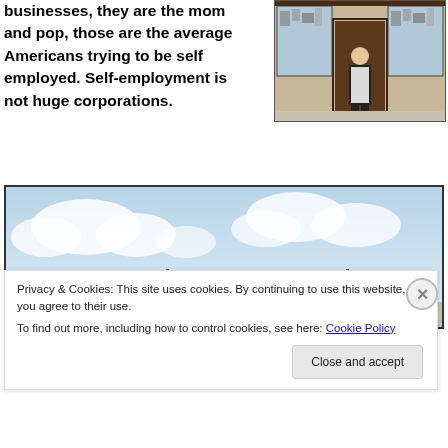businesses, they are the mom and pop, those are the average Americans trying to be self employed. Self-employment is not huge corporations.
[Figure (photo): A person in a white apron standing in front of a shop storefront filled with goods.]
[Figure (photo): A wide landscape photo showing a cloudy sky with street lights visible at the bottom.]
Privacy & Cookies: This site uses cookies. By continuing to use this website, you agree to their use. To find out more, including how to control cookies, see here: Cookie Policy